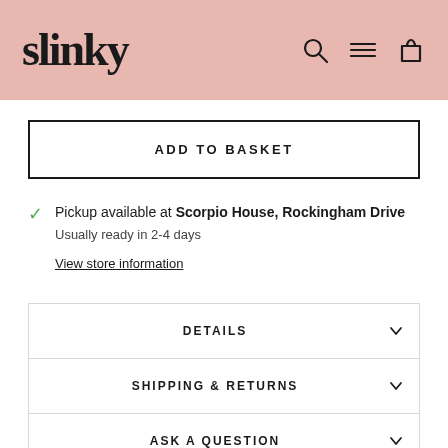[Figure (logo): Slinky brand logo in black serif font on pink/blush background header with search, menu, and basket icons]
ADD TO BASKET
Pickup available at Scorpio House, Rockingham Drive
Usually ready in 2-4 days
View store information
DETAILS
SHIPPING & RETURNS
ASK A QUESTION
Share   Tweet   Pin it